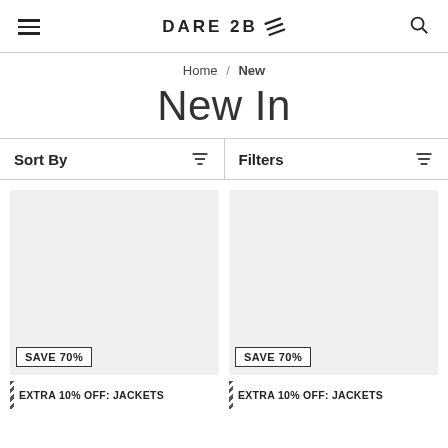DARE 2B
Home / New
New In
Sort By | Filters
[Figure (other): Product image placeholder left, grey rectangle with SAVE 70% badge]
[Figure (other): Product image placeholder right, grey rectangle with SAVE 70% badge]
EXTRA 10% OFF: JACKETS
EXTRA 10% OFF: JACKETS